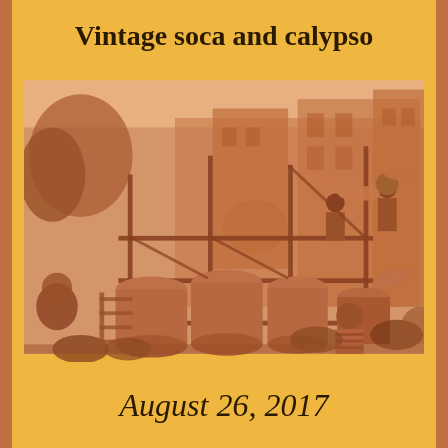Vintage soca and calypso
[Figure (photo): Sepia-toned vintage photograph of steel pan musicians playing large barrel drums on a scaffolded float at what appears to be a Caribbean street carnival or parade. Multiple performers are visible, some elevated on the scaffold structure, with crowds visible in the background and foreground. Buildings line the street behind the float.]
August 26, 2017